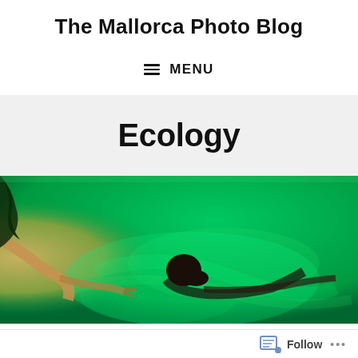The Mallorca Photo Blog
≡ MENU
Ecology
[Figure (photo): Underwater photo showing a person swimming in vivid green-tinted water, with another person reaching out from the left side. The water has swirling bright green and teal tones.]
Follow ...